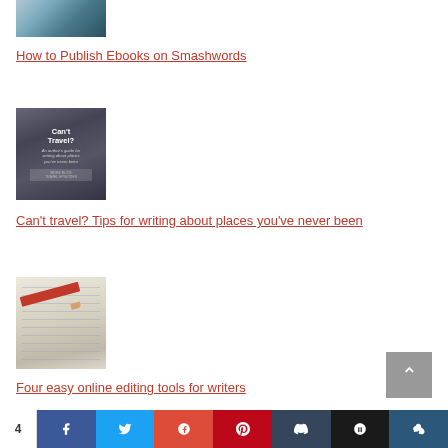[Figure (photo): Partial view of a book/glasses image at top]
How to Publish Ebooks on Smashwords
[Figure (illustration): Can't Travel? An author's guide for writing about places you've never been]
Can't travel? Tips for writing about places you've never been
[Figure (photo): Red pencil on lined paper]
Four easy online editing tools for writers
[Figure (photo): Partial image at bottom, partially cut off]
4 | Facebook | Twitter | Google+ | Pinterest | Tumblr | StumbleUpon | Share | VK